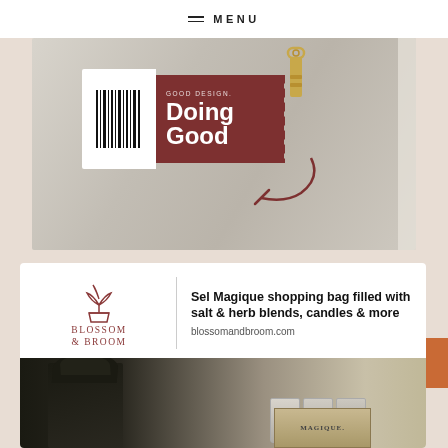≡ MENU
[Figure (photo): Photo of keys hanging on a wall with a ticket/voucher overlay reading 'GOOD DESIGN. Doing Good' with a barcode stub on the left side, and a decorative arrow illustration]
[Figure (logo): Blossom & Broom brand logo with plant/pot icon in terracotta red]
Sel Magique shopping bag filled with salt & herb blends, candles & more
blossomandbroom.com
[Figure (photo): Product photo showing a dark shopping bag with tissue paper, wooden crate labeled MAGIQUE, and three glass jars labeled MAGIQUE]